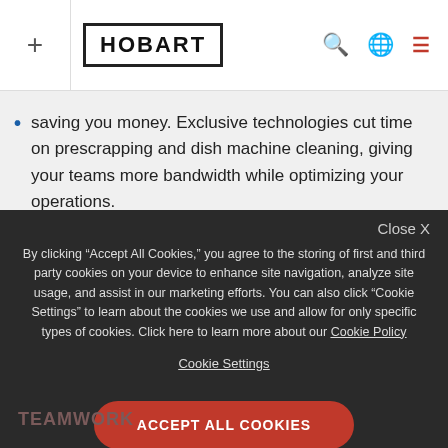HOBART
saving you money. Exclusive technologies cut time on prescrapping and dish machine cleaning, giving your teams more bandwidth while optimizing your operations.
LIFETIME VALUE
Hobart commercial dishwashers offer the highest lifetime value available, thanks to superior reliability and re…
Close X
By clicking "Accept All Cookies," you agree to the storing of first and third party cookies on your device to enhance site navigation, analyze site usage, and assist in our marketing efforts. You can also click "Cookie Settings" to learn about the cookies we use and allow for only specific types of cookies. Click here to learn more about our Cookie Policy
Cookie Settings
ACCEPT ALL COOKIES
TEAMWORK